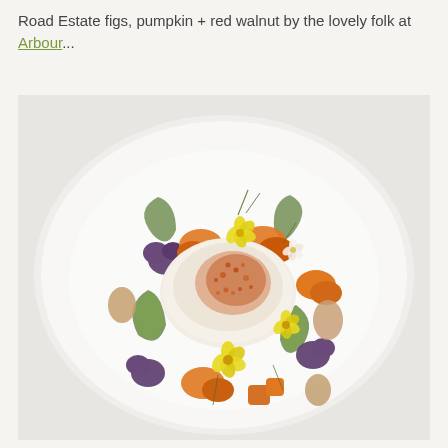Road Estate figs, pumpkin + red walnut by the lovely folk at Arbour...
[Figure (photo): An elegantly plated restaurant dish on a white plate: a round topped item (likely a cheese or mousse) sprinkled with reddish-orange granules in the center, surrounded by orange pumpkin pieces, curved cucumber slices, purple candied walnuts, figs, and bright yellow edible flowers with fine herb sprigs.]